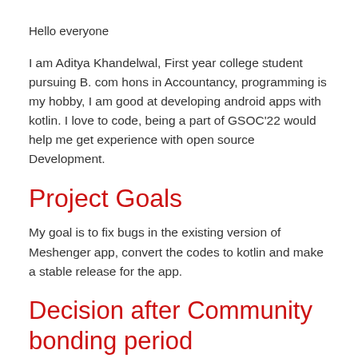Hello everyone
I am Aditya Khandelwal, First year college student pursuing B. com hons in Accountancy, programming is my hobby, I am good at developing android apps with kotlin. I love to code, being a part of GSOC’22 would help me get experience with open source Development.
Project Goals
My goal is to fix bugs in the existing version of Meshenger app, convert the codes to kotlin and make a stable release for the app.
Decision after Community bonding period